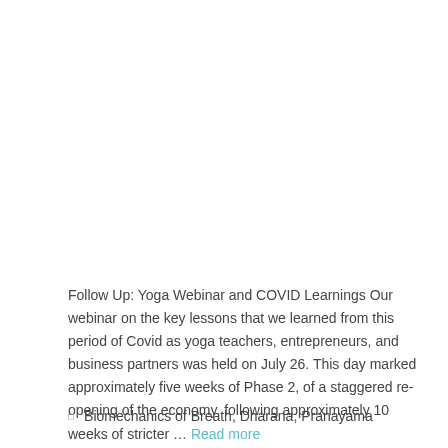Follow Up: Yoga Webinar and COVID Learnings Our webinar on the key lessons that we learned from this period of Covid as yoga teachers, entrepreneurs, and business partners was held on July 26. This day marked approximately five weeks of Phase 2, of a staggered re-opening of the economy, following approximately 10 weeks of stricter … Read more
Biomechanics of Breath, Dharana, Pranayama